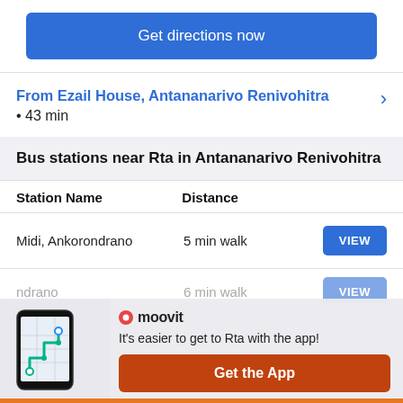Get directions now
From Ezail House, Antananarivo Renivohitra • 43 min
Bus stations near Rta in Antananarivo Renivohitra
| Station Name | Distance |
| --- | --- |
| Midi, Ankorondrano | 5 min walk |
| ...ndrano | 6 min walk |
It's easier to get to Rta with the app!
Get the App